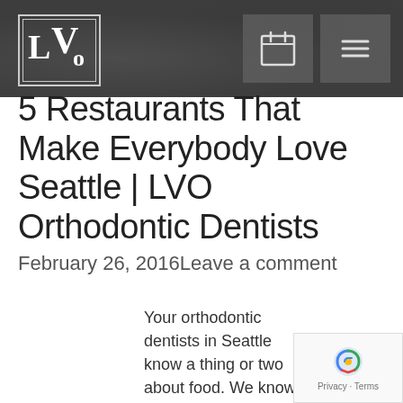LVO [logo] | [calendar icon] | [menu icon]
5 Restaurants That Make Everybody Love Seattle | LVO Orthodontic Dentists
February 26, 2016Leave a comment
Your orthodontic dentists in Seattle know a thing or two about food. We know how food...